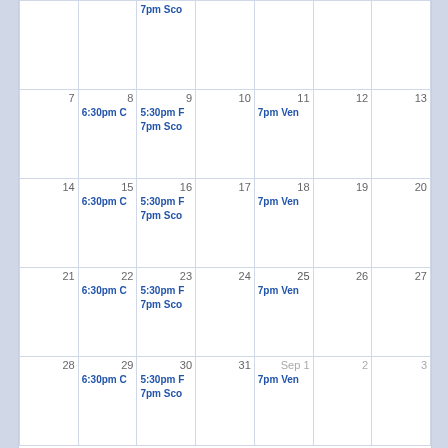| Sun | Mon | Tue | Wed | Thu | Fri | Sat |
| --- | --- | --- | --- | --- | --- | --- |
|  |  | 7pm Sco... |  |  |  |  |
| 7 | 8
6:30pm C | 9
5:30pm F
7pm Sco | 10 | 11
7pm Ven | 12 | 13 |
| 14 | 15
6:30pm C | 16
5:30pm F
7pm Sco | 17 | 18
7pm Ven | 19 | 20 |
| 21 | 22
6:30pm C | 23
5:30pm F
7pm Sco | 24 | 25 (today)
7pm Ven | 26 | 27 |
| 28 | 29
6:30pm C | 30
5:30pm F
7pm Sco | 31 | Sep 1
7pm Ven | 2 | 3 |